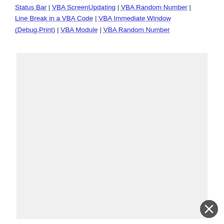Status Bar | VBA ScreenUpdating | VBA Random Number | Line Break in a VBA Code | VBA Immediate Window (Debug.Print) | VBA Module | VBA Random Number
[Figure (other): Large light gray rectangular placeholder box, likely an advertisement or image area]